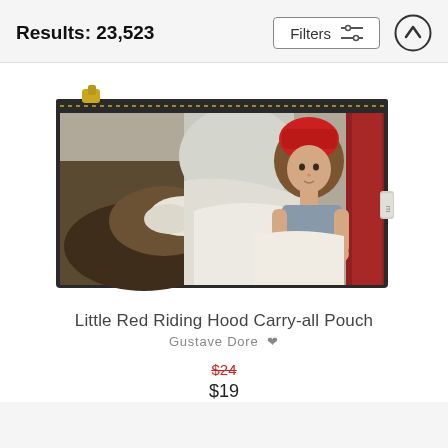Results: 23,523
Filters
[Figure (photo): A zipper pouch product featuring a classic painting of Little Red Riding Hood - a girl in a red hood pulling back bed covers to reveal the wolf dressed as grandmother. The pouch has a gold zipper along the top.]
Little Red Riding Hood Carry-all Pouch
Gustave Dore
$24 (strikethrough) $19